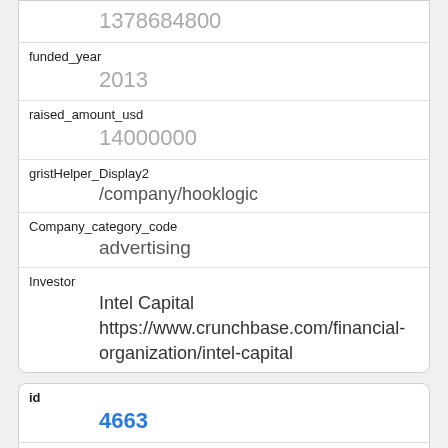| Field | Value |
| --- | --- |
| (id top) | 1378684800 |
| funded_year | 2013 |
| raised_amount_usd | 14000000 |
| gristHelper_Display2 | /company/hooklogic |
| Company_category_code | advertising |
| Investor | Intel Capital https://www.crunchbase.com/financial-organization/intel-capital |
| Field | Value |
| --- | --- |
| id | 4663 |
| manualSort | 4663 |
| Company | 529 |
| investor_permalink |  |